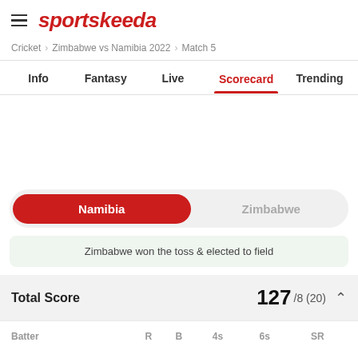sportskeeda
Cricket > Zimbabwe vs Namibia 2022 > Match 5
Info  Fantasy  Live  Scorecard  Trending
Namibia  Zimbabwe
Zimbabwe won the toss & elected to field
Total Score  127/8 (20)
| Batter | R | B | 4s | 6s | SR |
| --- | --- | --- | --- | --- | --- |